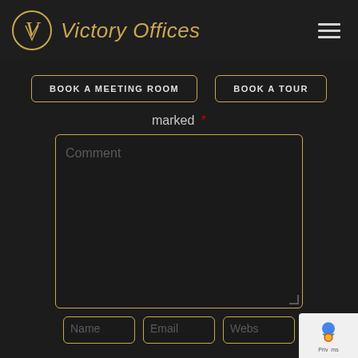[Figure (logo): Victory Offices logo — gold circular V emblem with brand name in gold italic text, hamburger menu icon top right]
BOOK A MEETING ROOM
BOOK A TOUR
marked *
Comment
Name
Email
Webs